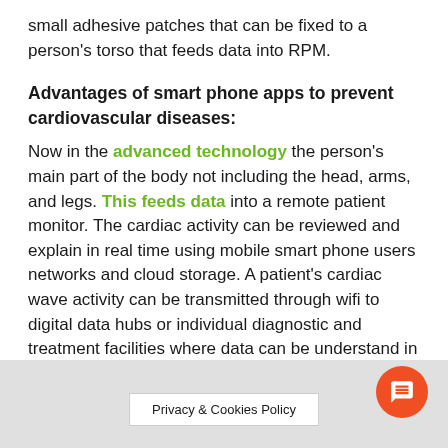small adhesive patches that can be fixed to a person's torso that feeds data into RPM.
Advantages of smart phone apps to prevent cardiovascular diseases:
Now in the advanced technology the person's main part of the body not including the head, arms, and legs. This feeds data into a remote patient monitor. The cardiac activity can be reviewed and explain in real time using mobile smart phone users networks and cloud storage. A patient's cardiac wave activity can be transmitted through wifi to digital data hubs or individual diagnostic and treatment facilities where data can be understand in a specified way. The persons who are suffering from
Privacy & Cookies Policy